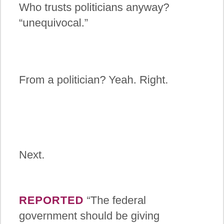Who trusts politicians anyway? “unequivocal.”
From a politician? Yeah. Right.
Next.
REPORTED: “The federal government should be giving…”